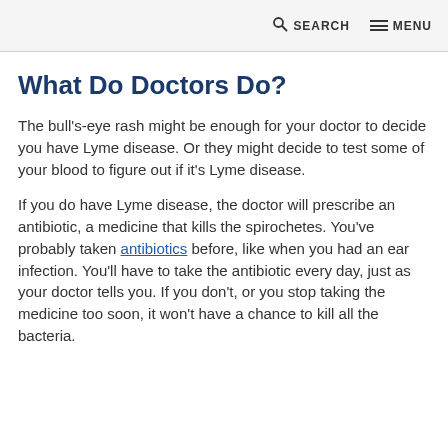SEARCH  MENU
What Do Doctors Do?
The bull's-eye rash might be enough for your doctor to decide you have Lyme disease. Or they might decide to test some of your blood to figure out if it's Lyme disease.
If you do have Lyme disease, the doctor will prescribe an antibiotic, a medicine that kills the spirochetes. You've probably taken antibiotics before, like when you had an ear infection. You'll have to take the antibiotic every day, just as your doctor tells you. If you don't, or you stop taking the medicine too soon, it won't have a chance to kill all the bacteria.